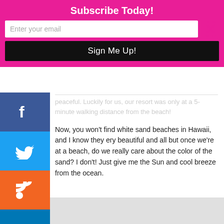Subscribe Today!
Enter your email
Sign Me Up!
peaceful. Luckily for us, our resort was only at a 5-minute walking distance from the beach!
Now, you won't find white sand beaches in Hawaii, and I know they very beautiful and all but once we're at a beach, do we really care about the color of the sand? I don't! Just give me the Sun and cool breeze from the ocean.
[Figure (screenshot): Beach photo with blue sky and palm trees, with a dark arrow/chevron button overlay and a close (X) button]
Advertisements